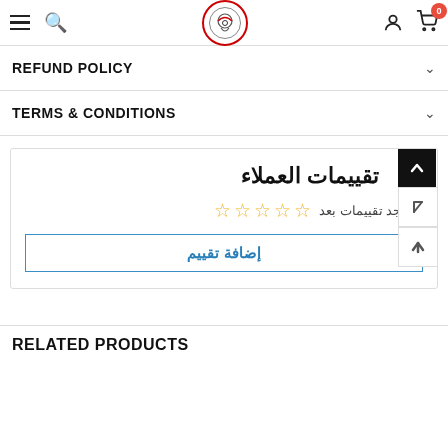Navigation bar with hamburger menu, search, logo, user icon, cart (0)
REFUND POLICY
TERMS & CONDITIONS
تقييمات العملاء
لا يوجد تقييمات بعد
إضافة تقييم
RELATED PRODUCTS